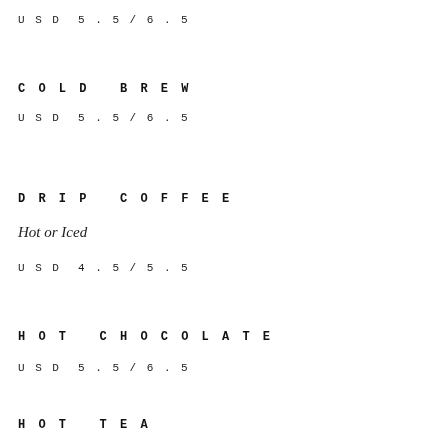USD 5.5/6.5
COLD BREW
USD 5.5/6.5
DRIP COFFEE
Hot or Iced
USD 4.5/5.5
HOT CHOCOLATE
USD 5.5/6.5
HOT TEA